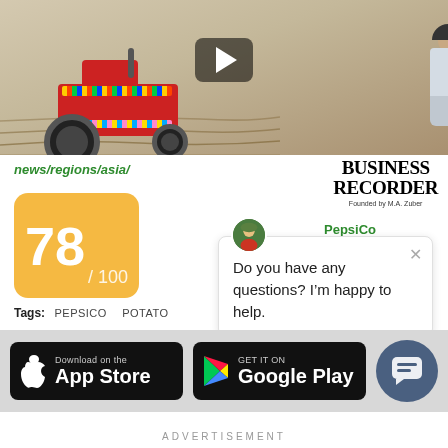[Figure (photo): Video thumbnail showing a colorfully decorated tractor plowing a field and a man in traditional attire bending over. A play button overlay is visible.]
news/regions/asia/
[Figure (logo): Business Recorder logo. Text: BUSINESS RECORDER, Founded by M.A. Zuber]
PepsiCo
[Figure (infographic): Score badge showing 78/100 in orange/yellow rounded rectangle]
Tags: PEPSICO  POTATO
[Figure (other): Chat popup with avatar icon and text: Do you have any questions? I'm happy to help. Close button (x) in top right.]
[Figure (other): App Store download badge (black, Apple logo, Download on the App Store)]
[Figure (other): Google Play badge (black, colorful play icon, GET IT ON Google Play)]
[Figure (other): Chat FAB button (circular dark blue-grey button with chat bubble icon)]
ADVERTISEMENT